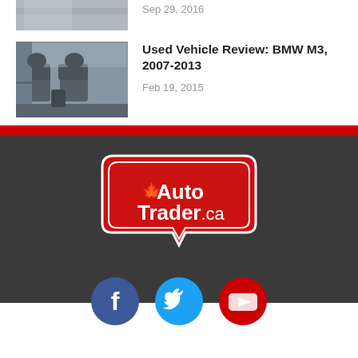[Figure (photo): Partial car image at top, cropped]
Sep 29, 2016
[Figure (photo): BMW M3 interior rear seat photo]
Used Vehicle Review: BMW M3, 2007-2013
Feb 19, 2015
[Figure (logo): AutoTrader.ca logo badge in red]
[Figure (illustration): Social media icons: Facebook, Twitter, YouTube]